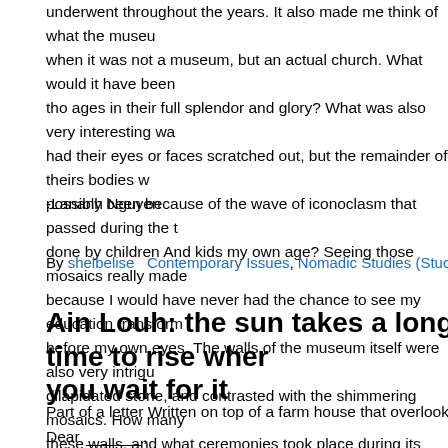underwent throughout the years. It also made me think of what the museum was like when it was not a museum, but an actual church. What would it have been like to see tho ages in their full splendor and glory? What was also very interesting was that many had their eyes or faces scratched out, but the remainder of theirs bodies were intact, possibly been because of the wave of iconoclasm that passed during the time? Was this done by children And kids my own age? Seeing those mosaics really made me feel special because I would have never had the chance to see my education transform and come alive before my own eyes. The walls of the museum itself were also very intriguing, made of dilapidated stone, and contrasted with the shimmering mosaics. How many people walked these walls, and what ceremonies took place during its prime? By going to those questions with our own experiences and personal narratives.
-Lananh Nguyen
By shelbelise   Contemporary Issues, Nomadic Studies (Study Abroad), Stude
Ain Louh: the sun takes a long time to rise when you wait for it
Part of a letter Written on top of a farm house that overlooks the mountains
Dear ______,